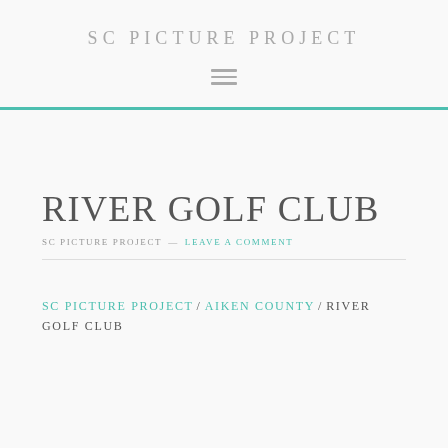SC PICTURE PROJECT
RIVER GOLF CLUB
SC PICTURE PROJECT — LEAVE A COMMENT
SC PICTURE PROJECT / AIKEN COUNTY / RIVER GOLF CLUB